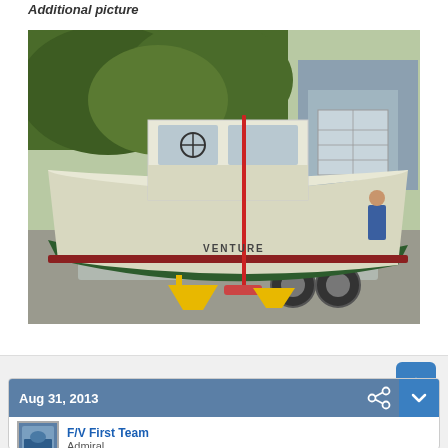Additional picture
[Figure (photo): A white and green boat on a trailer parked in a driveway. The boat has a cabin and the name 'VENTURE' on its hull. A red push broom leans against the boat. Yellow jack stands support the trailer tongue. A garage and trees are visible in the background.]
Aug 31, 2013
F/V First Team
Admiral